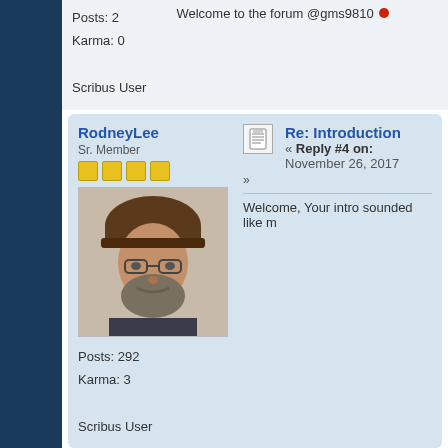Posts: 2
Karma: 0
Scribus User
Welcome to the forum @gms9810
RodneyLee
Sr. Member
[Figure (photo): Avatar photo of RodneyLee, a man wearing a fur hat and glasses]
Posts: 292
Karma: 3
Scribus User
Re: Introduction
« Reply #4 on: November 26, 2017
Welcome, Your intro sounded like m
Pages: [1]   Go Up
Scribus Forums » Community » Free discussion » Introduction